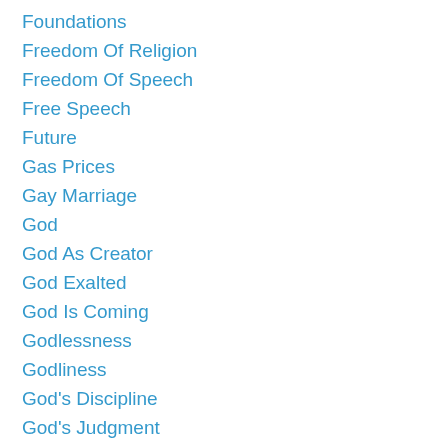Foundations
Freedom Of Religion
Freedom Of Speech
Free Speech
Future
Gas Prices
Gay Marriage
God
God As Creator
God Exalted
God Is Coming
Godlessness
Godliness
God's Discipline
God's Judgment
Gods Plans And Purpose
God's Presence
God's Purposes
God's Sovereignty
God's Word
GodMorse